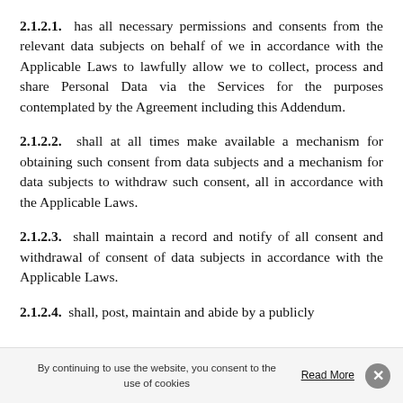2.1.2.1. has all necessary permissions and consents from the relevant data subjects on behalf of we in accordance with the Applicable Laws to lawfully allow we to collect, process and share Personal Data via the Services for the purposes contemplated by the Agreement including this Addendum.
2.1.2.2. shall at all times make available a mechanism for obtaining such consent from data subjects and a mechanism for data subjects to withdraw such consent, all in accordance with the Applicable Laws.
2.1.2.3. shall maintain a record and notify of all consent and withdrawal of consent of data subjects in accordance with the Applicable Laws.
2.1.2.4. shall, post, maintain and abide by a publicly
By continuing to use the website, you consent to the use of cookies